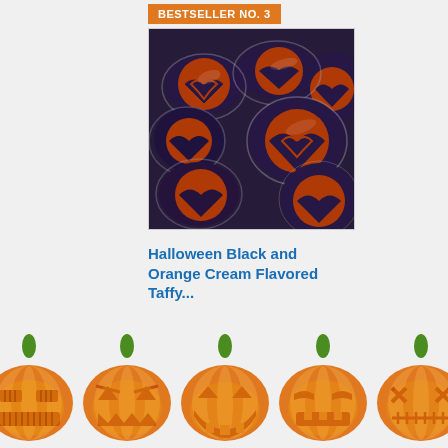BESTSELLER NO. 3
[Figure (photo): Photo of Halloween black and orange cream flavored taffy candies wrapped in clear plastic, showing spiral orange pattern on dark purple/black candy pieces]
Halloween Black and Orange Cream Flavored Taffy...
[Figure (illustration): Row of five Halloween jack-o-lantern pumpkins with various carved faces, orange with green stems]